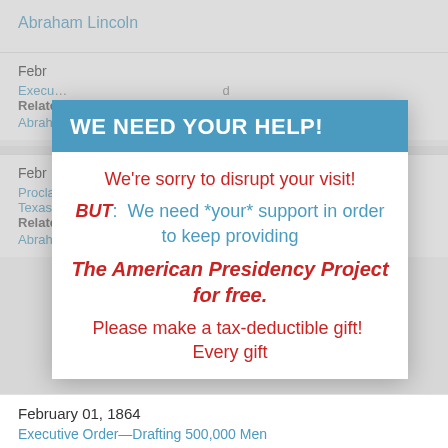Abraham Lincoln
Febr...
Execu...
Related
Abrah...
Febr...
Procla... Texas...
Related
Abrah...
WE NEED YOUR HELP!
We're sorry to disrupt your visit! BUT: We need *your* support in order to keep providing The American Presidency Project for free. Please make a tax-deductible gift! Every gift
February 01, 1864
Executive Order—Drafting 500,000 Men